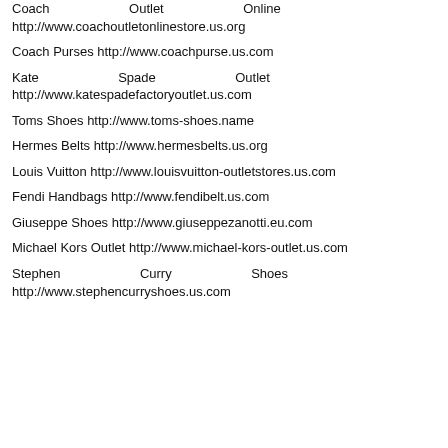Coach Outlet Online http://www.coachoutletonlinestore.us.org
Coach Purses http://www.coachpurse.us.com
Kate Spade Outlet http://www.katespadefactoryoutlet.us.com
Toms Shoes http://www.toms-shoes.name
Hermes Belts http://www.hermesbelts.us.org
Louis Vuitton http://www.louisvuitton-outletstores.us.com
Fendi Handbags http://www.fendibelt.us.com
Giuseppe Shoes http://www.giuseppezanotti.eu.com
Michael Kors Outlet http://www.michael-kors-outlet.us.com
Stephen Curry Shoes http://www.stephencurryshoes.us.com